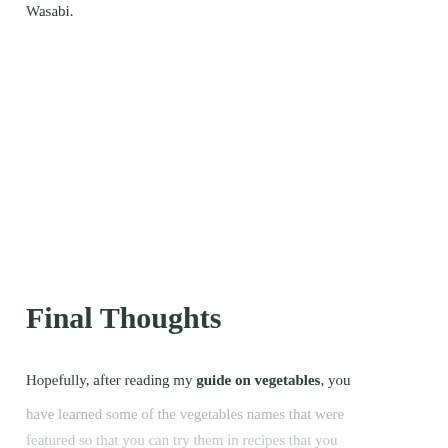Wasabi.
Final Thoughts
Hopefully, after reading my guide on vegetables, you have learned some of the vegetables names that were featured so that you can try them in recipes that you